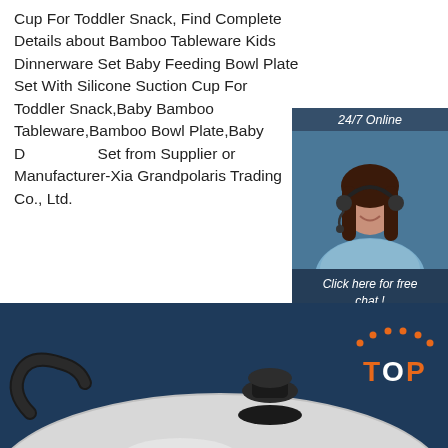Cup For Toddler Snack, Find Complete Details about Bamboo Tableware Kids Dinnerware Set Baby Feeding Bowl Plate Set With Silicone Suction Cup For Toddler Snack,Baby Bamboo Tableware,Bamboo Bowl Plate,Baby Dinnerware Set from Supplier or Manufacturer-Xia Grandpolaris Trading Co., Ltd.
[Figure (other): 24/7 Online chat widget with female customer service agent wearing headset, dark blue background, with 'Click here for free chat!' text and QUOTATION button]
Get Price
[Figure (photo): Product photo of a stainless steel pot lid with black knob handle on dark blue background, with a TOP badge in orange dots and text]